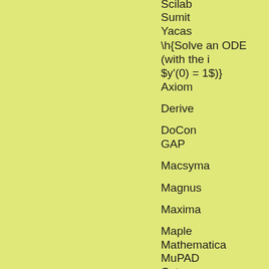Scilab
Sumit
Yacas
\h{Solve an ODE (with the initial conditions $y(0) = 0$, $y'(0) = 1$)}
Axiom
Derive
DoCon
GAP
Macsyma
Magnus
Maxima
Maple
Mathematica
MuPAD
Octave
Pari
Reduce
Scilab
Sumit